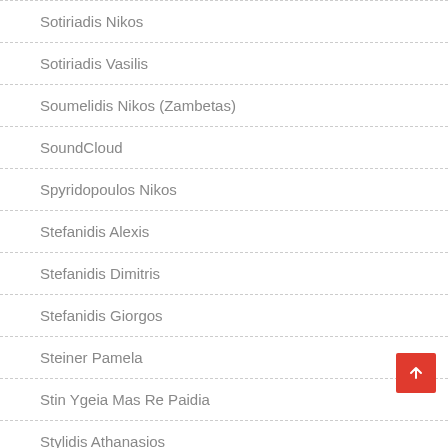Sotiriadis Nikos
Sotiriadis Vasilis
Soumelidis Nikos (Zambetas)
SoundCloud
Spyridopoulos Nikos
Stefanidis Alexis
Stefanidis Dimitris
Stefanidis Giorgos
Steiner Pamela
Stin Ygeia Mas Re Paidia
Stylidis Athanasios
Syranidis Christos